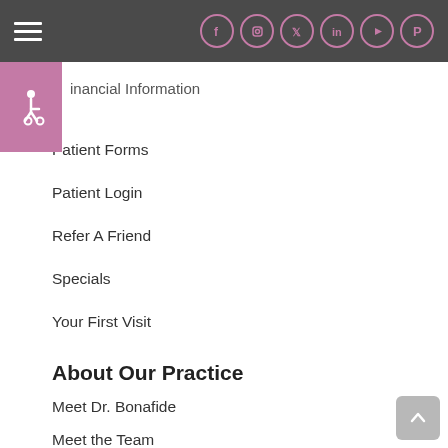Navigation bar with hamburger menu and social icons (Facebook, Instagram, Twitter, LinkedIn, YouTube, Pinterest)
Financial Information
Patient Forms
Patient Login
Refer A Friend
Specials
Your First Visit
About Our Practice
Meet Dr. Bonafide
Meet the Team
Office Tour